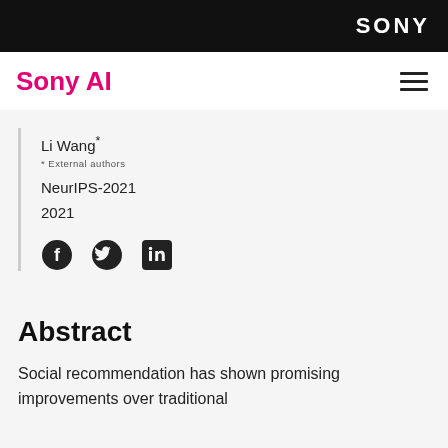SONY
Sony AI
Li Wang*
* External authors
NeurIPS-2021
2021
[Figure (infographic): Social media share icons: Facebook, Twitter, LinkedIn]
Abstract
Social recommendation has shown promising improvements over traditional